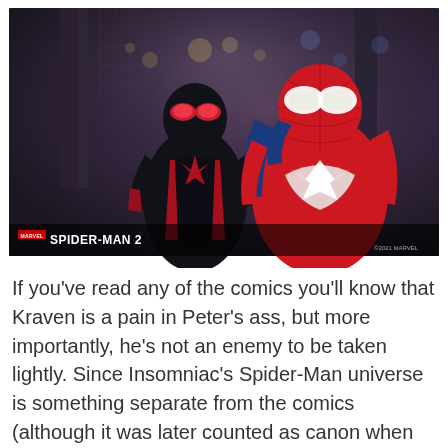[Figure (photo): Screenshot from Marvel's Spider-Man 2 video game showing Miles Morales in black and red suit on the left and Peter Parker in red and blue suit on the right, standing together in a city environment at night. Game logo 'SPIDER-MAN 2' with Marvel branding appears in the bottom left, copyright '©2021 MARVEL' in bottom right.]
If you've read any of the comics you'll know that Kraven is a pain in Peter's ass, but more importantly, he's not an enemy to be taken lightly. Since Insomniac's Spider-Man universe is something separate from the comics (although it was later counted as canon when all the different spideys met) things can go differently than how they did in